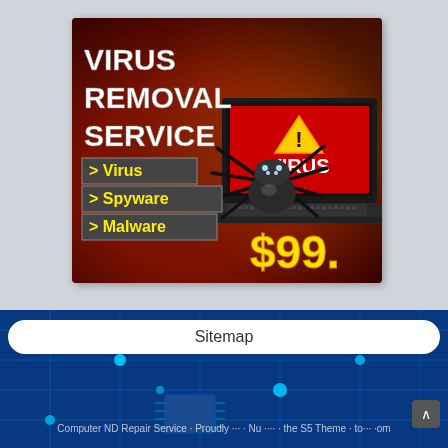[Figure (illustration): Virus Removal Service advertisement showing a laptop with a spider crawling on it, red warning screen saying VIRUS with a warning triangle, bold white text reading VIRUS REMOVAL SERVICE, yellow bold text listing > Virus, > Spyware, > Malware, and price $99. in yellow, on a red-orange gradient background.]
Sitemap
Computer ND Repair Service · Proudly ... · Nu .... · the S5 Theme · to.... .om